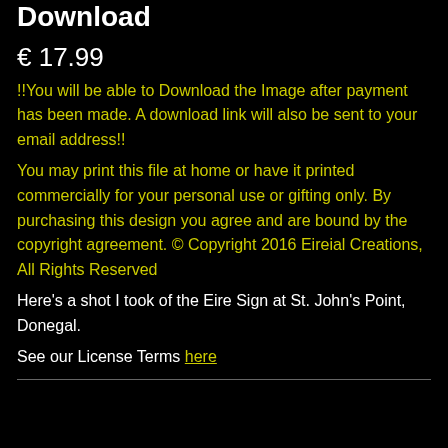Download
€ 17.99
!!You will be able to Download the Image after payment has been made. A download link will also be sent to your email address!!
You may print this file at home or have it printed commercially for your personal use or gifting only. By purchasing this design you agree and are bound by the copyright agreement. © Copyright 2016 Eireial Creations, All Rights Reserved
Here's a shot I took of the Eire Sign at St. John's Point, Donegal.
See our License Terms here